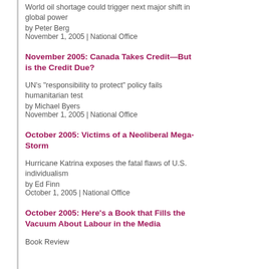World oil shortage could trigger next major shift in global power
by Peter Berg
November 1, 2005 | National Office
November 2005: Canada Takes Credit—But is the Credit Due?
UN's "responsibility to protect" policy fails humanitarian test
by Michael Byers
November 1, 2005 | National Office
October 2005: Victims of a Neoliberal Mega-Storm
Hurricane Katrina exposes the fatal flaws of U.S. individualism
by Ed Finn
October 1, 2005 | National Office
October 2005: Here's a Book that Fills the Vacuum About Labour in the Media
Book Review